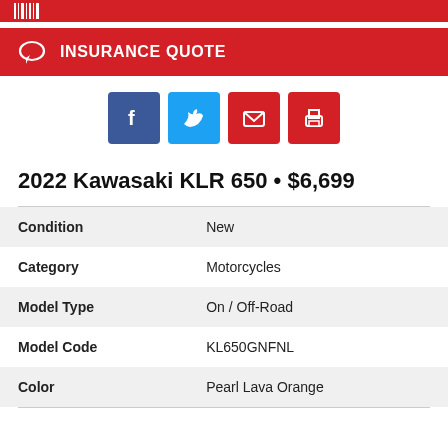INSURANCE QUOTE
2022 Kawasaki KLR 650 • $6,699
| Field | Value |
| --- | --- |
| Condition | New |
| Category | Motorcycles |
| Model Type | On / Off-Road |
| Model Code | KL650GNFNL |
| Color | Pearl Lava Orange |